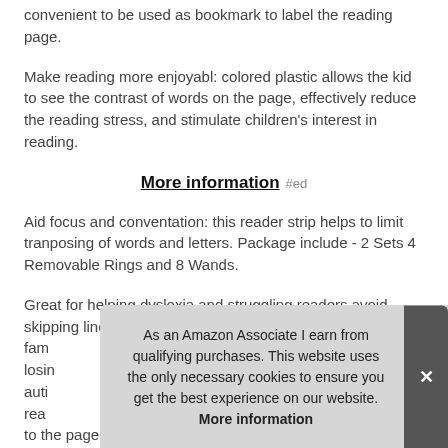convenient to be used as bookmark to label the reading page.
Make reading more enjoyabl: colored plastic allows the kid to see the contrast of words on the page, effectively reduce the reading stress, and stimulate children's interest in reading.
More information #ed
Aid focus and conventation: this reader strip helps to limit tranposing of words and letters. Package include - 2 Sets 4 Removable Rings and 8 Wands.
Great for helping dyslexia and struggling readers avoid skipping lines, and strengthening reading skills. Suitable for fam... losi... auti... rea... to the page.
As an Amazon Associate I earn from qualifying purchases. This website uses the only necessary cookies to ensure you get the best experience on our website. More information